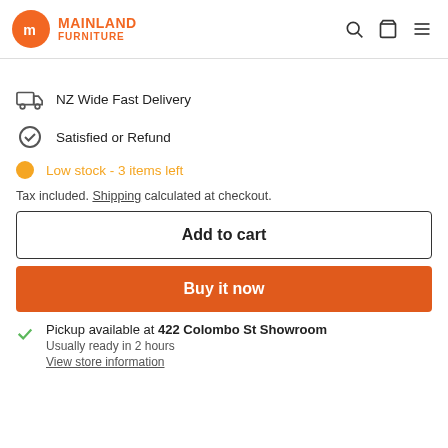Mainland Furniture
NZ Wide Fast Delivery
Satisfied or Refund
Low stock - 3 items left
Tax included. Shipping calculated at checkout.
Add to cart
Buy it now
Pickup available at 422 Colombo St Showroom
Usually ready in 2 hours
View store information